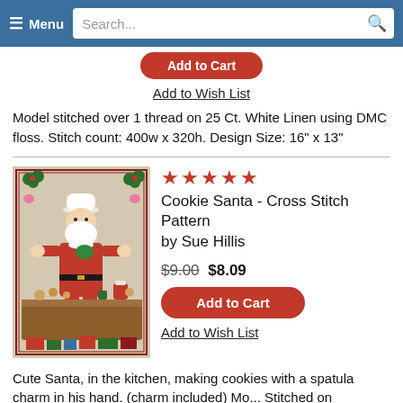Menu | Search...
[Figure (screenshot): Partially visible red Add to Cart button at top of page]
Add to Wish List
Model stitched over 1 thread on 25 Ct. White Linen using DMC floss. Stitch count: 400w x 320h. Design Size: 16" x 13"
[Figure (illustration): Cross stitch pattern of Santa Claus in a chef hat standing at a kitchen table making cookies, surrounded by baked goods and decorations, framed with holly]
★★★★★
Cookie Santa - Cross Stitch Pattern
by Sue Hillis
$9.00 $8.09
Add to Cart
Add to Wish List
Cute Santa, in the kitchen, making cookies with a spatula charm in his hand. (charm included) Mo... Stitched on Zweigart's Lugana, 14/28 count, Su... Khaki color. When stitched on this count, your project